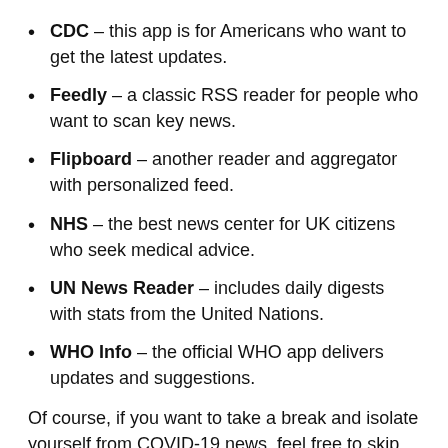CDC – this app is for Americans who want to get the latest updates.
Feedly – a classic RSS reader for people who want to scan key news.
Flipboard – another reader and aggregator with personalized feed.
NHS – the best news center for UK citizens who seek medical advice.
UN News Reader – includes daily digests with stats from the United Nations.
WHO Info – the official WHO app delivers updates and suggestions.
Of course, if you want to take a break and isolate yourself from COVID-19 news, feel free to skip this section. News isn't obligatory; they help to keep in touch with the world